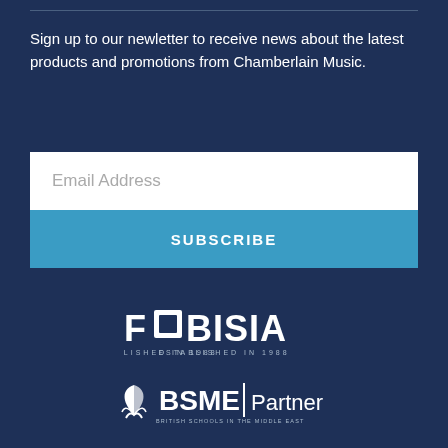Sign up to our newletter to receive news about the latest products and promotions from Chamberlain Music.
[Figure (screenshot): Email address input field (white rectangle) with placeholder text 'Email Address']
[Figure (screenshot): Subscribe button in steel blue with white uppercase text 'SUBSCRIBE']
[Figure (logo): FOBISIA logo — white text on dark blue background, with tagline 'ESTABLISHED IN 1988']
[Figure (logo): BSME | Partner logo — British Schools in the Middle East partner badge with book/leaf icon and 'BSME | Partner' text in white]